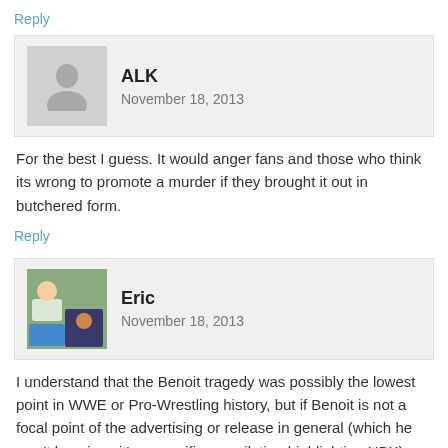Reply
ALK
November 18, 2013
For the best I guess. It would anger fans and those who think its wrong to promote a murder if they brought it out in butchered form.
Reply
Eric
November 18, 2013
I understand that the Benoit tragedy was possibly the lowest point in WWE or Pro-Wrestling history, but if Benoit is not a focal point of the advertising or release in general (which he won't be, since it's a specific compilation highlighting HBK) there's no reason to edit or cut his matches. Releasing “The Streak” while the Undertaker is still competing is ridiculous; putting out Shawn's ‘complete’ WrestleMania DVD without one of the matches is even dumber. If there is a legal reason to cut Benoit content from DVD's, fine, but it was years ago,